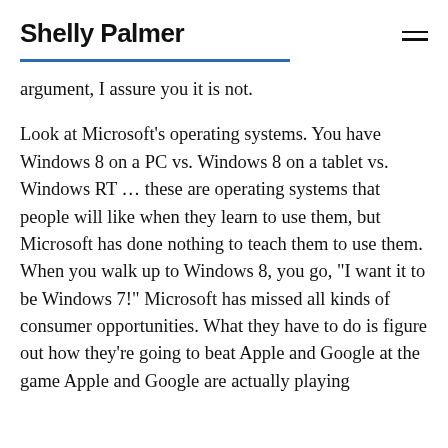Shelly Palmer
argument, I assure you it is not.
Look at Microsoft’s operating systems. You have Windows 8 on a PC vs. Windows 8 on a tablet vs. Windows RT … these are operating systems that people will like when they learn to use them, but Microsoft has done nothing to teach them to use them. When you walk up to Windows 8, you go, “I want it to be Windows 7!” Microsoft has missed all kinds of consumer opportunities. What they have to do is figure out how they’re going to beat Apple and Google at the game Apple and Google are actually playing